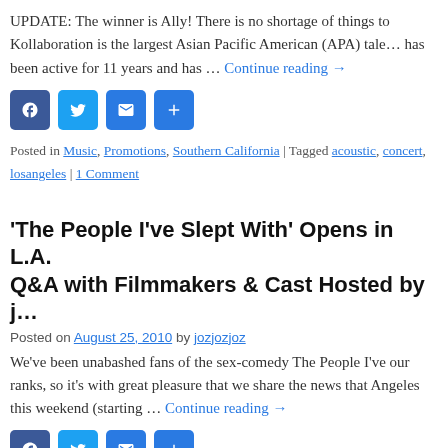UPDATE: The winner is Ally! There is no shortage of things to … Kollaboration is the largest Asian Pacific American (APA) tal… has been active for 11 years and has … Continue reading →
[Figure (other): Social share buttons: Facebook, Twitter, Email, More]
Posted in Music, Promotions, Southern California | Tagged acoustic, concert, losangeles | 1 Comment
'The People I've Slept With' Opens in L.A. Q&A with Filmmakers & Cast Hosted by j…
Posted on August 25, 2010 by jozjozjoz
We've been unabashed fans of the sex-comedy The People I've … our ranks, so it's with great pleasure that we share the news that … Angeles this weekend (starting … Continue reading →
[Figure (other): Social share buttons: Facebook, Twitter, Email, More]